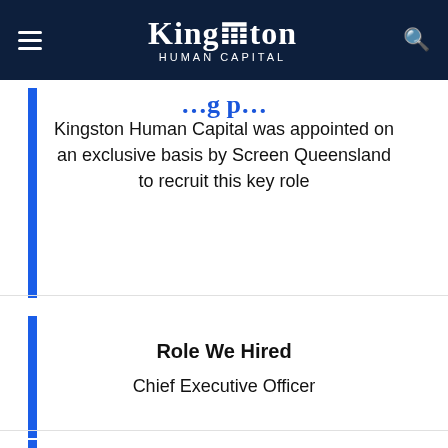Kingston Human Capital — navigation header
Kingston Human Capital was appointed on an exclusive basis by Screen Queensland to recruit this key role
Role We Hired
Chief Executive Officer